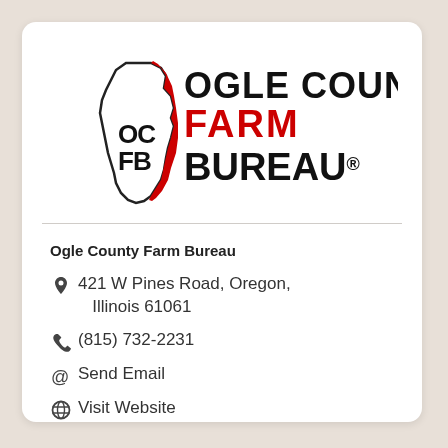[Figure (logo): Ogle County Farm Bureau logo with Illinois state outline, OCFB letters, and bold text reading OGLE COUNTY FARM BUREAU with registered trademark symbol]
Ogle County Farm Bureau
421 W Pines Road, Oregon, Illinois 61061
(815) 732-2231
Send Email
Visit Website